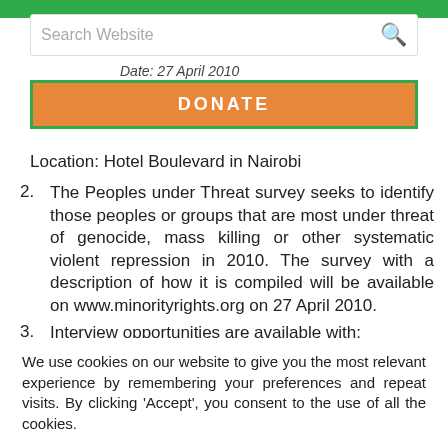Search Website
Date: 27 April 2010
DONATE
Location: Hotel Boulevard in Nairobi
2. The Peoples under Threat survey seeks to identify those peoples or groups that are most under threat of genocide, mass killing or other systematic violent repression in 2010. The survey with a description of how it is compiled will be available on www.minorityrights.org on 27 April 2010.
3. Interview opportunities are available with:
We use cookies on our website to give you the most relevant experience by remembering your preferences and repeat visits. By clicking 'Accept', you consent to the use of all the cookies.
Cookie settings
ACCEPT